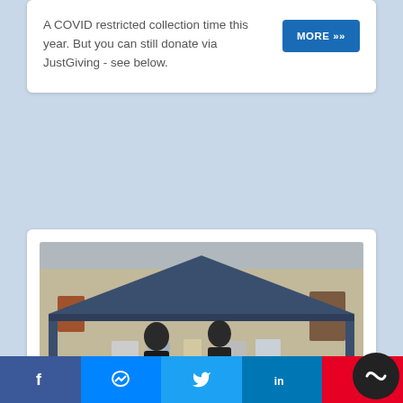A COVID restricted collection time this year. But you can still donate via JustGiving - see below.
[Figure (photo): Outdoor market stall under a large blue canopy tent with two people standing behind a table covered in various items for sale, set in front of a stone building. Various items including pictures and buckets are visible on the ground.]
Table Top Sale Dec 13th 2020
f | messenger | twitter | in | pinterest